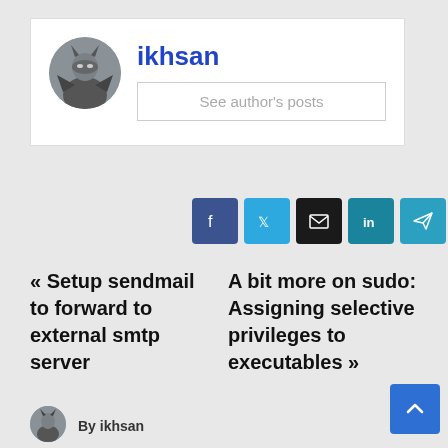ikhsan
See author's posts
[Figure (infographic): Social share icons: Facebook, Twitter, Email, LinkedIn, Telegram, Pinterest]
« Setup sendmail to forward to external smtp server
A bit more on sudo: Assigning selective privileges to executables »
By ikhsan